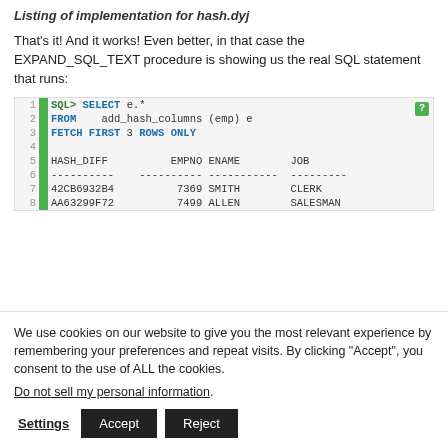Listing of implementation for hash.dyj
That's it! And it works! Even better, in that case the EXPAND_SQL_TEXT procedure is showing us the real SQL statement that runs:
[Figure (screenshot): Code block showing SQL query: SELECT e.* FROM add_hash_columns (emp) e FETCH FIRST 3 ROWS ONLY; followed by output with columns HASH_DIFF, EMPNO, ENAME, JOB; rows: 42CB6932B4 7369 SMITH CLERK, AA63299F72 7499 ALLEN SALESMAN]
We use cookies on our website to give you the most relevant experience by remembering your preferences and repeat visits. By clicking “Accept”, you consent to the use of ALL the cookies.
Do not sell my personal information.